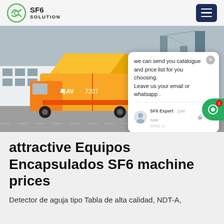SF6 SOLUTION
[Figure (photo): Yellow SF6 service truck with open rear compartment at an industrial substation site. A chat popup overlay is visible on the right side of the image with message: 'we can send you catalogue and price list for you choosing. Leave us your email or whatsapp .' from SF6 Expert.]
attractive Equipos Encapsulados SF6 machine prices
Detector de aguja tipo Tabla de alta calidad, NDT-A,